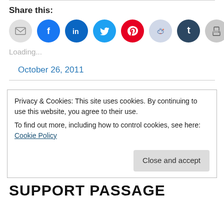Share this:
[Figure (infographic): Row of social share icon circles: email (grey), Facebook (blue), LinkedIn (dark blue), Twitter (cyan), Pinterest (red), Reddit (light blue), Tumblr (dark navy), Print (grey)]
Loading...
October 26, 2011
Privacy & Cookies: This site uses cookies. By continuing to use this website, you agree to their use.
To find out more, including how to control cookies, see here: Cookie Policy
Close and accept
SUPPORT PASSAGE